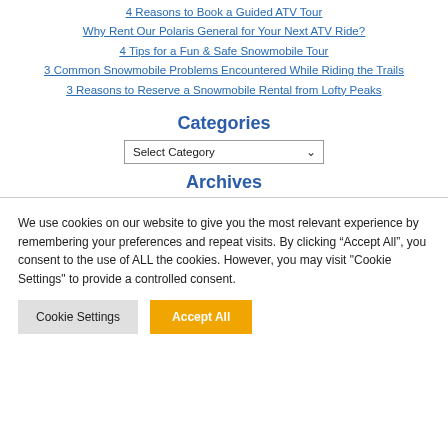4 Reasons to Book a Guided ATV Tour
Why Rent Our Polaris General for Your Next ATV Ride?
4 Tips for a Fun & Safe Snowmobile Tour
3 Common Snowmobile Problems Encountered While Riding the Trails
3 Reasons to Reserve a Snowmobile Rental from Lofty Peaks
Categories
Select Category
Archives
We use cookies on our website to give you the most relevant experience by remembering your preferences and repeat visits. By clicking “Accept All”, you consent to the use of ALL the cookies. However, you may visit "Cookie Settings" to provide a controlled consent.
Cookie Settings | Accept All